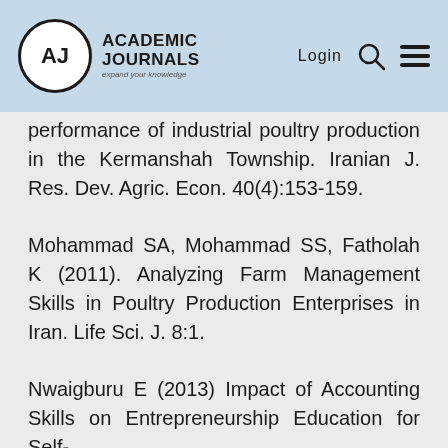Academic Journals — Login
performance of industrial poultry production in the Kermanshah Township. Iranian J. Res. Dev. Agric. Econ. 40(4):153-159.
Mohammad SA, Mohammad SS, Fatholah K (2011). Analyzing Farm Management Skills in Poultry Production Enterprises in Iran. Life Sci. J. 8:1.
Nwaigburu E (2013) Impact of Accounting Skills on Entrepreneurship Education for Self-